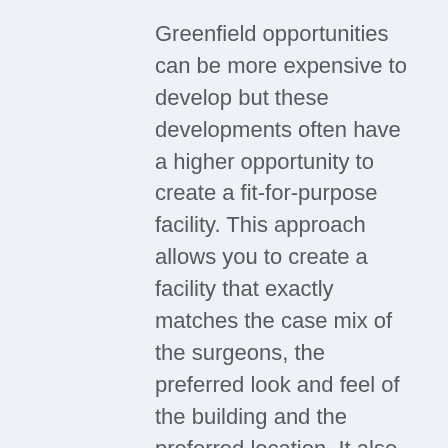Greenfield opportunities can be more expensive to develop but these developments often have a higher opportunity to create a fit-for-purpose facility. This approach allows you to create a facility that exactly matches the case mix of the surgeons, the preferred look and feel of the building and the preferred location. It also allows for the development of a contained services ecosystem with compatible and supporting co-tenants such as consulting suites, radiology, pathology and allied services.